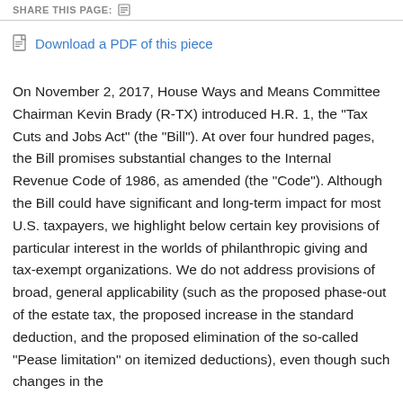SHARE THIS PAGE:
Download a PDF of this piece
On November 2, 2017, House Ways and Means Committee Chairman Kevin Brady (R-TX) introduced H.R. 1, the “Tax Cuts and Jobs Act” (the “Bill”). At over four hundred pages, the Bill promises substantial changes to the Internal Revenue Code of 1986, as amended (the “Code”). Although the Bill could have significant and long-term impact for most U.S. taxpayers, we highlight below certain key provisions of particular interest in the worlds of philanthropic giving and tax-exempt organizations. We do not address provisions of broad, general applicability (such as the proposed phase-out of the estate tax, the proposed increase in the standard deduction, and the proposed elimination of the so-called “Pease limitation” on itemized deductions), even though such changes in the